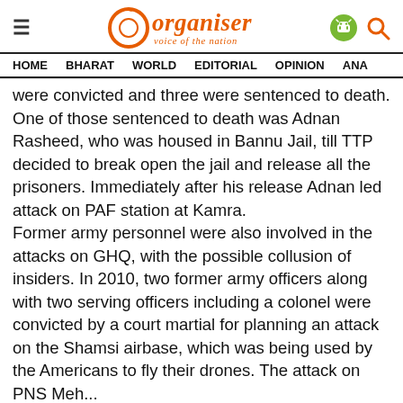Organiser — voice of the nation | HOME  BHARAT  WORLD  EDITORIAL  OPINION  ANA...
were convicted and three were sentenced to death. One of those sentenced to death was Adnan Rasheed, who was housed in Bannu Jail, till TTP decided to break open the jail and release all the prisoners. Immediately after his release Adnan led attack on PAF station at Kamra.
Former army personnel were also involved in the attacks on GHQ, with the possible collusion of insiders. In 2010, two former army officers along with two serving officers including a colonel were convicted by a court martial for planning an attack on the Shamsi airbase, which was being used by the Americans to fly their drones. The attack on PNS Mehran was another case of their involvement...